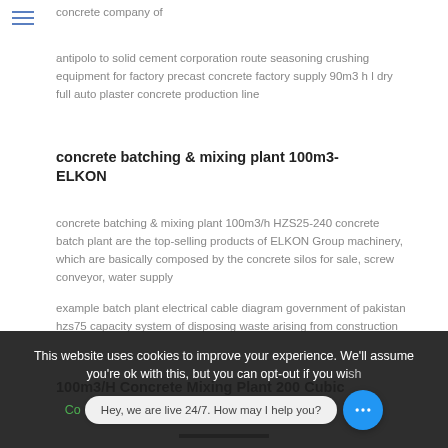concrete company of
antipolo to solid cement corporation route seasoning crushing equipment for factory precast concrete factory supply 90m3 h l dry full auto plaster concrete production line
concrete batching & mixing plant 100m3-ELKON
concrete batching & mixing plant 100m3/h HZS25-240 concrete batch plant are the top-selling products of ELKON Group machinery, which are basically composed by the concrete silos for sale, screw conveyor, water supply
example batch plant electrical cable diagram government of pakistan hzs75 capacity system of disposing waste arising from construction
100m3/H Concrete Mixing Plant 200 Cubic
This website uses cookies to improve your experience. We'll assume you're ok with this, but you can opt-out if you wish
Hey, we are live 24/7. How may I help you?